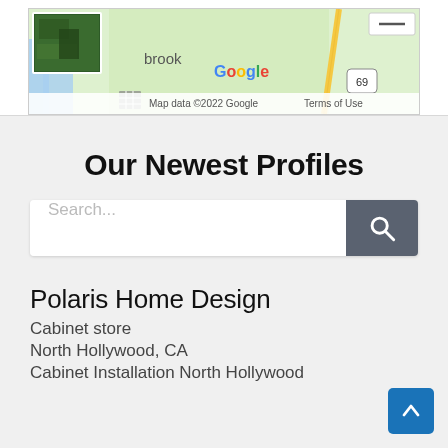[Figure (map): Google Maps partial view showing a green terrain map with 'brook' text visible, Google logo, and 'Map data ©2022 Google Terms of Use' footer. A satellite thumbnail is shown in the upper left. Route 69 marker visible.]
Our Newest Profiles
Search...
Polaris Home Design
Cabinet store
North Hollywood, CA
Cabinet Installation North Hollywood